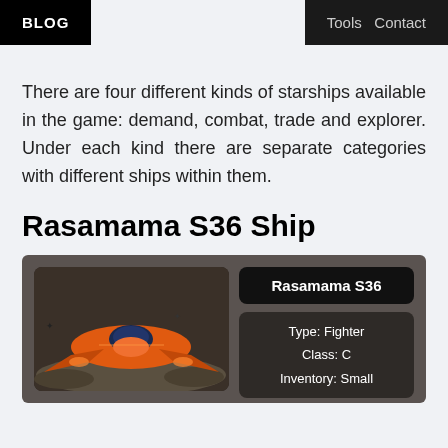BLOG | Tools  Contact
There are four different kinds of starships available in the game: demand, combat, trade and explorer. Under each kind there are separate categories with different ships within them.
Rasamama S36 Ship
[Figure (illustration): A card showing the Rasamama S36 starship: an orange fighter spacecraft resting on rocky terrain, with ship details including Type: Fighter, Class: C, Inventory: Small]
Rasamama S36
Type: Fighter
Class: C
Inventory: Small